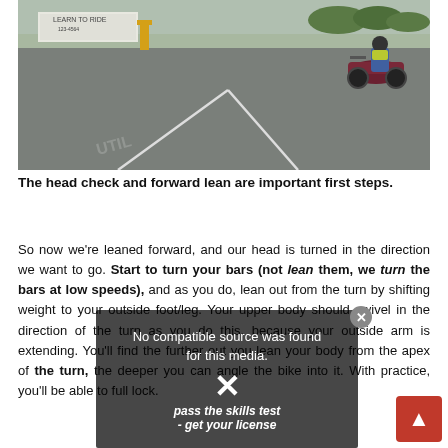[Figure (photo): A motorcyclist wearing a yellow vest rides in a parking lot with white painted lines on asphalt. A trailer with 'Learn to Ride' text and a yellow bollard are visible in the background.]
The head check and forward lean are important first steps.
So now we're leaned forward, and our head is turned in the direction we want to go. Start to turn your bars (not lean them, we turn the bars at low speeds), and as you do, lean out from the turn by shifting weight to your outside foot/leg. Your upper body should swivel in the direction of the turn as you do this, because your outside arm is extending. You'll find the further out you lean your body from the apex of the turn, the deeper you can angle the bike into it. With practice, you'll be able to full lock.